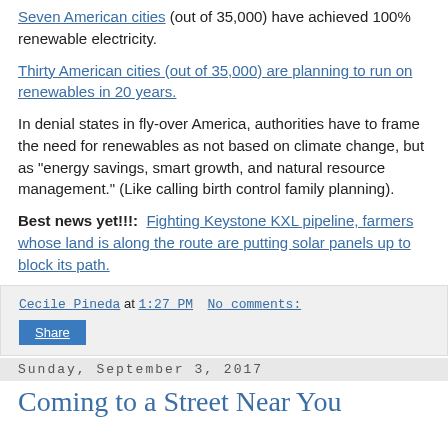Seven American cities (out of 35,000) have achieved 100% renewable electricity.
Thirty American cities (out of 35,000) are planning to run on renewables in 20 years.
In denial states in fly-over America, authorities have to frame the need for renewables as not based on climate change, but as "energy savings, smart growth, and natural resource management." (Like calling birth control family planning).
Best news yet!!!:  Fighting Keystone KXL pipeline, farmers whose land is along the route are putting solar panels up to block its path.
Cecile Pineda at 1:27 PM    No comments:
Share
Sunday, September 3, 2017
Coming to a Street Near You